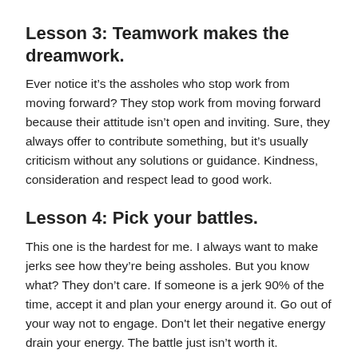Lesson 3: Teamwork makes the dreamwork.
Ever notice it’s the assholes who stop work from moving forward? They stop work from moving forward because their attitude isn’t open and inviting. Sure, they always offer to contribute something, but it’s usually criticism without any solutions or guidance. Kindness, consideration and respect lead to good work.
Lesson 4: Pick your battles.
This one is the hardest for me. I always want to make jerks see how they’re being assholes. But you know what? They don’t care. If someone is a jerk 90% of the time, accept it and plan your energy around it. Go out of your way not to engage. Don't let their negative energy drain your energy. The battle just isn’t worth it.